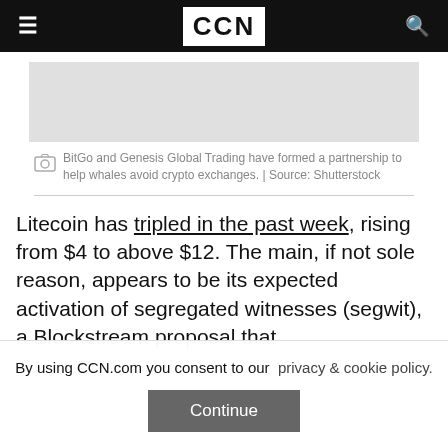CCN
[Figure (photo): Gray image placeholder area]
BitGo and Genesis Global Trading have formed a partnership to help whales avoid crypto exchanges. | Source: Shutterstock
Litecoin has tripled in the past week, rising from $4 to above $12. The main, if not sole reason, appears to be its expected activation of segregated witnesses (segwit), a Blockstream proposal that
By using CCN.com you consent to our  privacy & cookie policy.